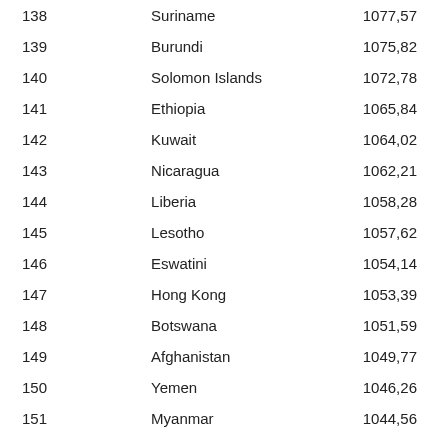| Rank | Country | Value |
| --- | --- | --- |
| 138 | Suriname | 1077,57 |
| 139 | Burundi | 1075,82 |
| 140 | Solomon Islands | 1072,78 |
| 141 | Ethiopia | 1065,84 |
| 142 | Kuwait | 1064,02 |
| 143 | Nicaragua | 1062,21 |
| 144 | Liberia | 1058,28 |
| 145 | Lesotho | 1057,62 |
| 146 | Eswatini | 1054,14 |
| 147 | Hong Kong | 1053,39 |
| 148 | Botswana | 1051,59 |
| 149 | Afghanistan | 1049,77 |
| 150 | Yemen | 1046,26 |
| 151 | Myanmar | 1044,56 |